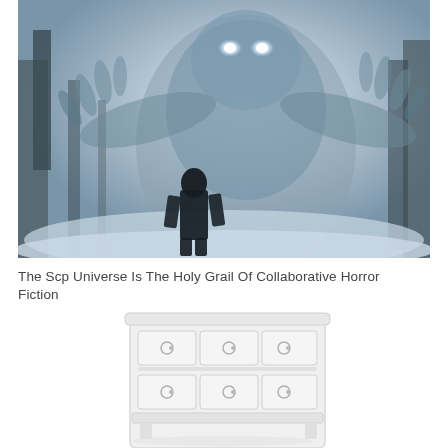[Figure (photo): A eerie horror photo showing a large shadowy monster figure with glowing eyes and outstretched hands looming in foggy woods, with a small dark human figure standing in the foreground facing the creature.]
The Scp Universe Is The Holy Grail Of Collaborative Horror Fiction
[Figure (photo): A white dresser or chest of drawers with round drawer pulls, shown against a white background.]